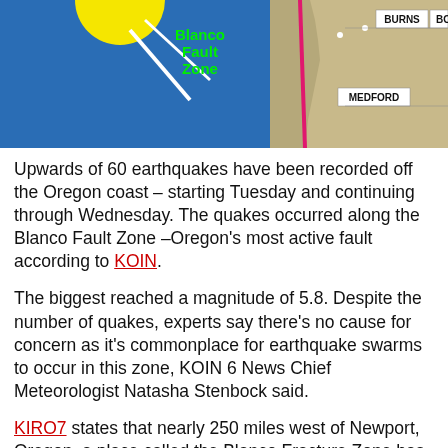[Figure (map): Map showing the Blanco Fault Zone off the Oregon coast, with labels for Blanco Fault Zone (in green), Medford, Burns, and other Oregon locations. The fault zone is highlighted in pink/red.]
Upwards of 60 earthquakes have been recorded off the Oregon coast – starting Tuesday and continuing through Wednesday. The quakes occurred along the Blanco Fault Zone –Oregon's most active fault according to KOIN.
The biggest reached a magnitude of 5.8. Despite the number of quakes, experts say there's no cause for concern as it's commonplace for earthquake swarms to occur in this zone, KOIN 6 News Chief Meteorologist Natasha Stenbock said.
KIRO7 states that nearly 250 miles west of Newport, Oregon, a place called the Blanco Fracture Zone has produced more than 60